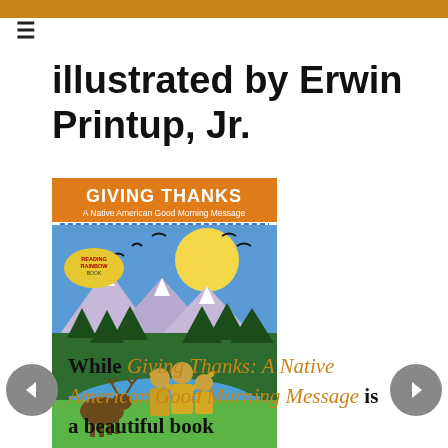illustrated by Erwin Printup, Jr.
[Figure (illustration): Book cover of 'Giving Thanks: A Native American Good Morning Message' by Chief Jake Swamp, illustrated by Erwin Printup, Jr. Cover shows Native American figures with arms raised, mountains, trees, flying birds, a yellow sun/moon, and a deer by a river. 'Reading Rainbow Book' badge shown.]
While Giving Thanks: A Native American Good Morning Message is a beautiful book